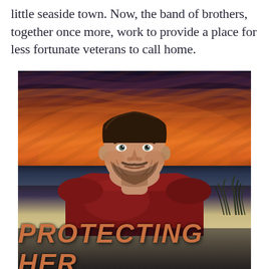little seaside town. Now, the band of brothers, together once more, work to provide a place for less fortunate veterans to call home.
[Figure (illustration): Book cover image showing a young man with brown hair and beard wearing a dark red t-shirt, standing in front of a dramatic orange and purple sunset sky over a beach with sand dunes and sea grass. The title 'PROTECTING HER' appears at the bottom in large orange italic letters.]